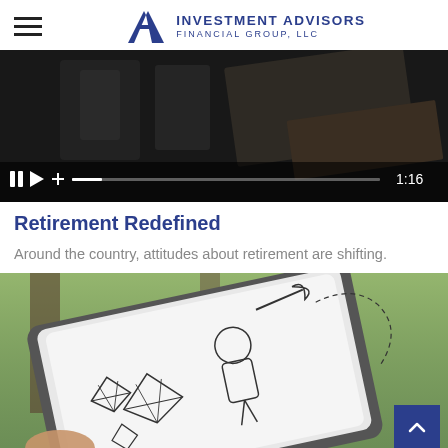INVESTMENT ADVISORS FINANCIAL GROUP, LLC
[Figure (screenshot): Video player showing a dark background video with playback controls at the bottom including pause, play, plus icons, a progress bar, and time stamp '1:16']
Retirement Redefined
Around the country, attitudes about retirement are shifting.
[Figure (photo): A tablet being held showing hand-drawn cartoon illustrations including diamonds, a person with a pickaxe, and dashed arrow lines on a white background, with a blurred green outdoor background]